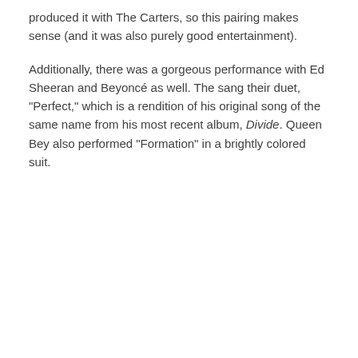produced it with The Carters, so this pairing makes sense (and it was also purely good entertainment).
Additionally, there was a gorgeous performance with Ed Sheeran and Beyoncé as well. The sang their duet, "Perfect," which is a rendition of his original song of the same name from his most recent album, Divide. Queen Bey also performed "Formation" in a brightly colored suit.